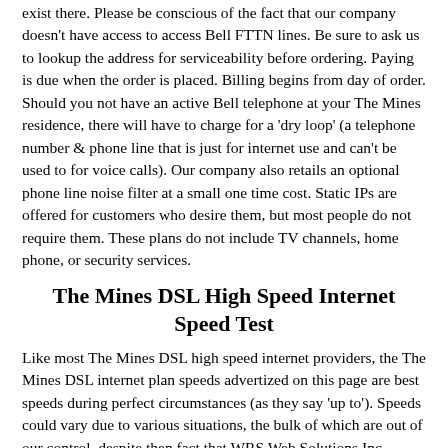exist there. Please be conscious of the fact that our company doesn't have access to access Bell FTTN lines. Be sure to ask us to lookup the address for serviceability before ordering. Paying is due when the order is placed. Billing begins from day of order. Should you not have an active Bell telephone at your The Mines residence, there will have to charge for a 'dry loop' (a telephone number & phone line that is just for internet use and can't be used to for voice calls). Our company also retails an optional phone line noise filter at a small one time cost. Static IPs are offered for customers who desire them, but most people do not require them. These plans do not include TV channels, home phone, or security services.
The Mines DSL High Speed Internet Speed Test
Like most The Mines DSL high speed internet providers, the The Mines DSL internet plan speeds advertized on this page are best speeds during perfect circumstances (as they say 'up to'). Speeds could vary due to various situations, the bulk of which are out of our control, despite then fact that WRS Web Solutions Inc. always strive to deliver the best internet plans in The Mines. For more information regarding additional The Mines internet plans topics see our Knowledgebase & the FAQs page.